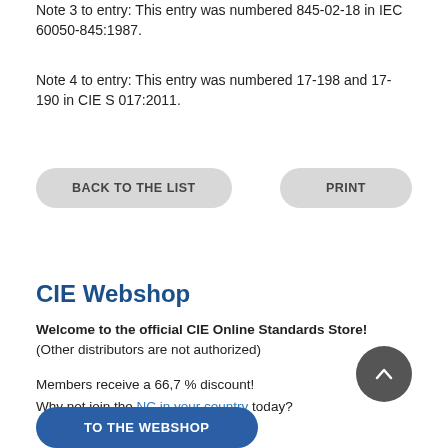Note 3 to entry: This entry was numbered 845-02-18 in IEC 60050-845:1987.
Note 4 to entry: This entry was numbered 17-198 and 17-190 in CIE S 017:2011.
BACK TO THE LIST
PRINT
CIE Webshop
Welcome to the official CIE Online Standards Store! (Other distributors are not authorized)
Members receive a 66,7 % discount! Why not join the NC in your country today?
TO THE WEBSHOP